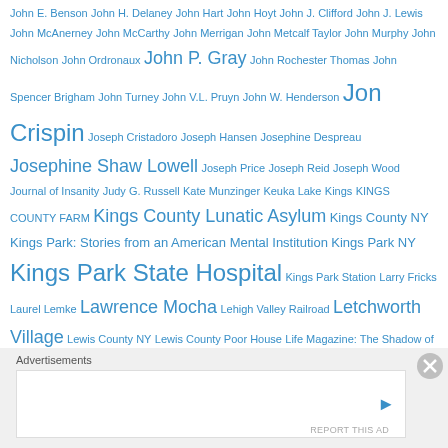John E. Benson John H. Delaney John Hart John Hoyt John J. Clifford John J. Lewis John McAnerney John McCarthy John Merrigan John Metcalf Taylor John Murphy John Nicholson John Ordronaux John P. Gray John Rochester Thomas John Spencer Brigham John Turney John V.L. Pruyn John W. Henderson Jon Crispin Joseph Cristadoro Joseph Hansen Josephine Despreau Josephine Shaw Lowell Joseph Price Joseph Reid Joseph Wood Journal of Insanity Judy G. Russell Kate Munzinger Keuka Lake Kings KINGS COUNTY FARM Kings County Lunatic Asylum Kings County NY Kings Park: Stories from an American Mental Institution Kings Park NY Kings Park State Hospital Kings Park Station Larry Fricks Laurel Lemke Lawrence Mocha Lehigh Valley Railroad Letchworth Village Lewis County NY Lewis County Poor House Life Magazine: The Shadow of Insanity Lin Stuhler Livingston County NY Livingston County Poor House London Lancet Long Island Railroad Station Long Island State Hospital Long Island State Hospital at Kings Park Long Island State Hospital in Flatbush Longview Asylum Ohio Lost Luggage Recovered Lives Louisa Lee Schuyler Louis Daguerre Louise
Advertisements